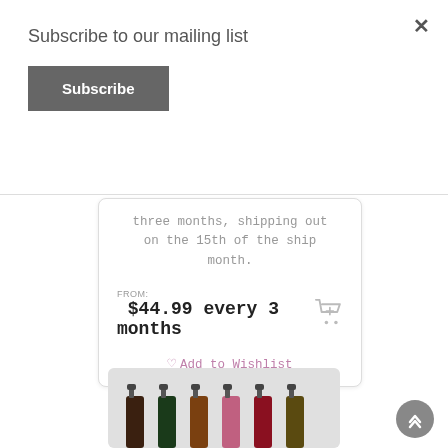Subscribe to our mailing list
Subscribe
three months, shipping out on the 15th of the ship month.
FROM: $44.99 every 3 months
Add to Wishlist
[Figure (photo): Product image showing multiple spray bottles with colorful liquid, arranged in a row on a light background]